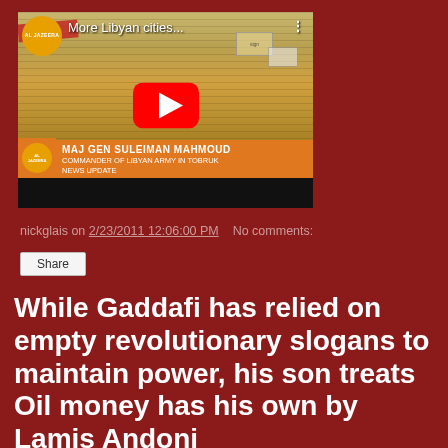[Figure (screenshot): Al Jazeera YouTube video thumbnail showing a crowd protest scene with title 'More Libyan cities...' and lower third identifying MAJ GEN SULEIMAN MAHMOUD, COMMANDER OF LIBYAN ARMY IN TOBRUK, NEWS UPDATE]
nickglais on 2/23/2011 12:06:00 PM   No comments:
Share
While Gaddafi has relied on empty revolutionary slogans to maintain power, his son treats Oil money has his own by Lamis Andoni